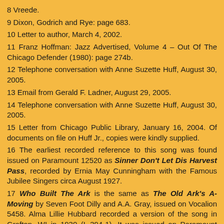8 Vreede.
9 Dixon, Godrich and Rye: page 683.
10 Letter to author, March 4, 2002.
11 Franz Hoffman: Jazz Advertised, Volume 4 – Out Of The Chicago Defender (1980): page 274b.
12 Telephone conversation with Anne Suzette Huff, August 30, 2005.
13 Email from Gerald F. Ladner, August 29, 2005.
14 Telephone conversation with Anne Suzette Huff, August 30, 2005.
15 Letter from Chicago Public Library, January 16, 2004. Of documents on file on Huff Jr., copies were kindly supplied.
16 The earliest recorded reference to this song was found issued on Paramount 12520 as Sinner Don't Let Dis Harvest Pass, recorded by Ernia May Cunningham with the Famous Jubilee Singers circa August 1927.
17 Who Built The Ark is the same as The Old Ark's A-Moving by Seven Foot Dilly and A.A. Gray, issued on Vocalion 5458. Alma Lillie Hubbard recorded a version of the song in Grafton, WI in 1930 (L-394-1). It was issued on Paramount 13041.
ARTICLES HOME PAGE